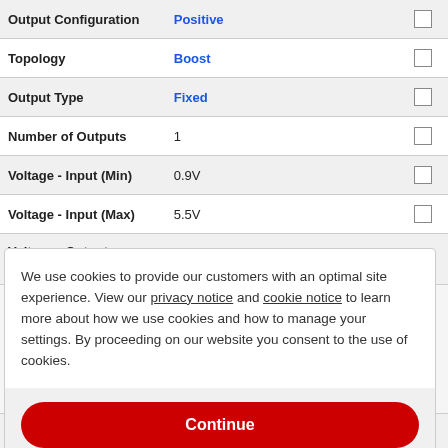| Property | Value |  |
| --- | --- | --- |
| Output Configuration | Positive | ☐ |
| Topology | Boost | ☐ |
| Output Type | Fixed | ☐ |
| Number of Outputs | 1 | ☐ |
| Voltage - Input (Min) | 0.9V | ☐ |
| Voltage - Input (Max) | 5.5V | ☐ |
| Voltage - Output (Min/Fixed) | 3.3V | ☐ |
We use cookies to provide our customers with an optimal site experience. View our privacy notice and cookie notice to learn more about how we use cookies and how to manage your settings. By proceeding on our website you consent to the use of cookies.
Continue
Exit
Privacy Notice
| Property | Value |  |
| --- | --- | --- |
| Base Product Number | TPS613221 | ☐ |